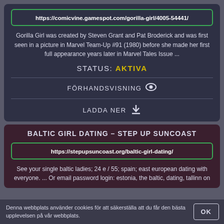https://comicvine.gamespot.com/gorilla-girl/4005-54441/
Gorilla Girl was created by Steven Grant and Pat Broderick and was first seen in a picture in Marvel Team-Up #91 (1980) before she made her first full appearance years later in Marvel Tales Issue ...
STATUS: AKTIVA
FÖRHANDSVISNING
LADDA NER
BALTIC GIRL DATING – STEP UP SUNCOAST
https://stepupsuncoast.org/baltic-girl-dating/
See your single baltic ladies; 24 e / 55; spain; east european dating with everyone. ... Or email password login: estonia, the baltic, dating, tallinn on
Denna webbplats använder cookies för att säkerställa att du får den bästa upplevelsen på vår webbplats.